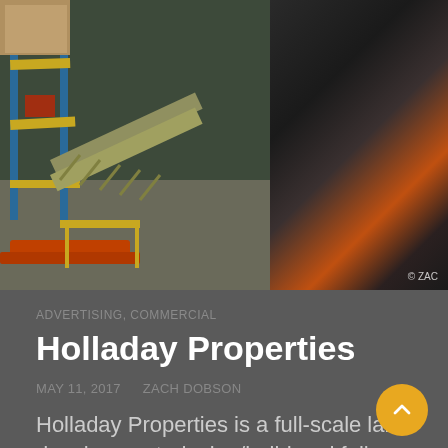[Figure (photo): Warehouse interior showing industrial shelving racks with yellow metal structures and conveyor equipment on the left, and a forklift in motion on the right. Copyright watermark partially visible reading '© ZAC']
ADVERTISING, COMMERCIAL
Holladay Properties
MAY 11, 2017   ZACH DOBSON
Holladay Properties is a full-scale land development, design/build and fully-integrated